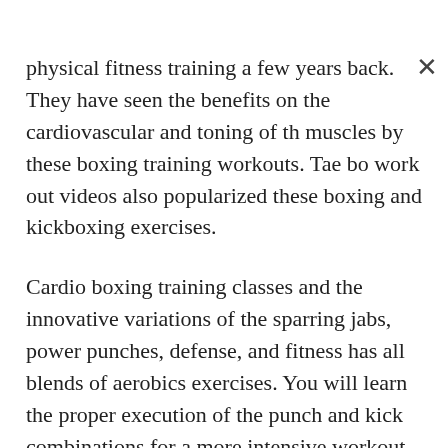physical fitness training a few years back. They have seen the benefits on the cardiovascular and toning of the muscles by these boxing training workouts. Tae bo work out videos also popularized these boxing and kickboxing exercises.
Cardio boxing training classes and the innovative variations of the sparring jabs, power punches, defense, and fitness has all blends of aerobics exercises. You will learn the proper execution of the punch and kick combinations for a more intensive workout that can help you become stronger and more confident.
The combinations you perform on the blocks, jabs, and kicks are executed to an imagined opponent. You may